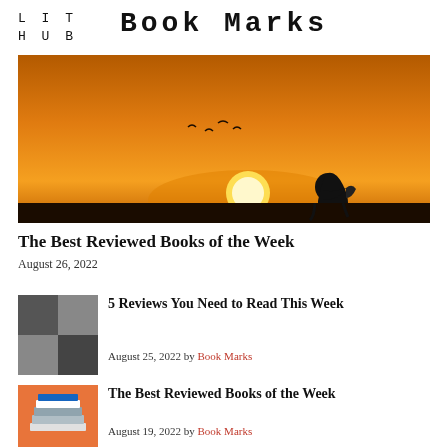LIT HUB
Book Marks
[Figure (photo): Silhouette of a person reading a book against a dramatic orange sunset with birds flying in the sky]
The Best Reviewed Books of the Week
August 26, 2022
[Figure (photo): Dark grey checkerboard pattern thumbnail image]
5 Reviews You Need to Read This Week
August 25, 2022 by Book Marks
[Figure (photo): Stack of books on an orange background]
The Best Reviewed Books of the Week
August 19, 2022 by Book Marks